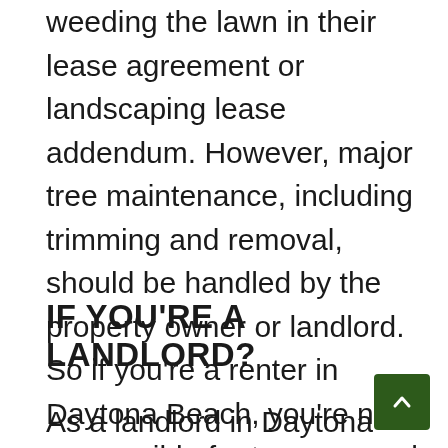weeding the lawn in their lease agreement or landscaping lease addendum. However, major tree maintenance, including trimming and removal, should be handled by the property owner or landlord. So if you're a renter in Daytona Beach, you're not responsible for tree removal unless your lease specifically outlines tree removal responsibilities.
IF YOU'RE A LANDLORD?
As a landlord in Daytona Beach, you own the trees on your property and are